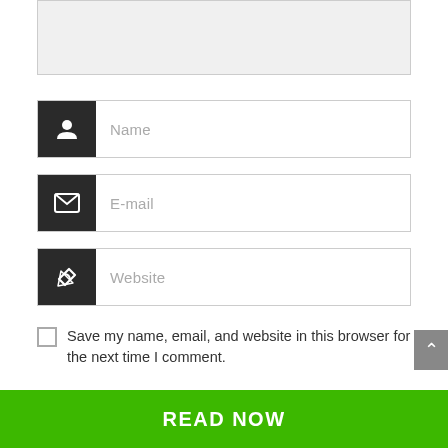[Figure (screenshot): Top portion of a comment form showing a gray textarea input field (partially visible, cropped at top)]
Name
E-mail
Website
Save my name, email, and website in this browser for the next time I comment.
Submit
READ NOW